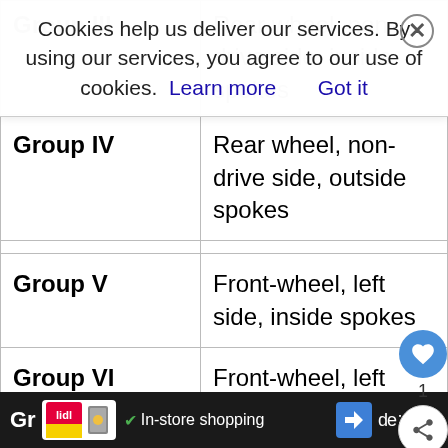| Group | Description |
| --- | --- |
| Group III | Rear wheel, non-drive side, inside spokes |
| Group IV | Rear wheel, non-drive side, outside spokes |
| Group V | Front-wheel, left side, inside spokes |
| Group VI | Front-wheel, left side, outside spokes |
Cookies help us deliver our services. By using our services, you agree to our use of cookies. Learn more  Got it
In-store shopping